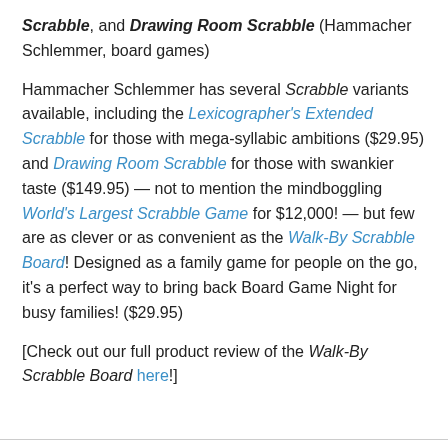Scrabble, and Drawing Room Scrabble (Hammacher Schlemmer, board games)
Hammacher Schlemmer has several Scrabble variants available, including the Lexicographer's Extended Scrabble for those with mega-syllabic ambitions ($29.95) and Drawing Room Scrabble for those with swankier taste ($149.95) — not to mention the mindboggling World's Largest Scrabble Game for $12,000! — but few are as clever or as convenient as the Walk-By Scrabble Board! Designed as a family game for people on the go, it's a perfect way to bring back Board Game Night for busy families! ($29.95)
[Check out our full product review of the Walk-By Scrabble Board here!]